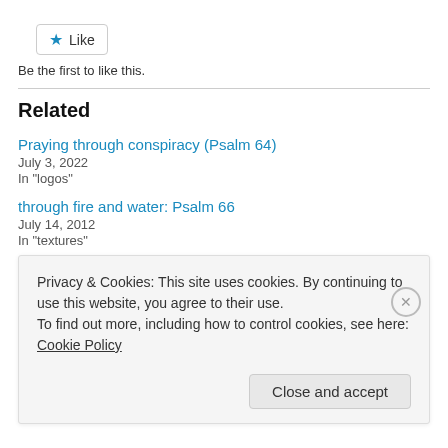[Figure (other): Like button with blue star icon]
Be the first to like this.
Related
Praying through conspiracy (Psalm 64)
July 3, 2022
In "logos"
through fire and water: Psalm 66
July 14, 2012
In "textures"
creative collaboration: Psalm 104
Privacy & Cookies: This site uses cookies. By continuing to use this website, you agree to their use.
To find out more, including how to control cookies, see here: Cookie Policy
Close and accept